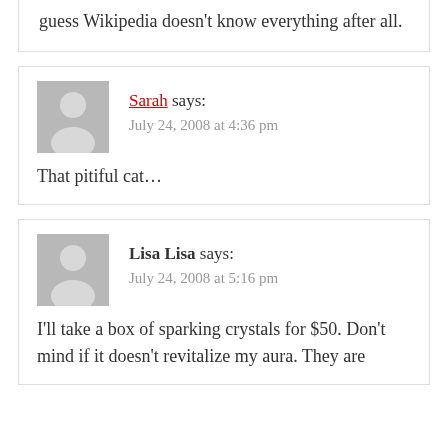guess Wikipedia doesn't know everything after all.
Sarah says:
July 24, 2008 at 4:36 pm

That pitiful cat…
Lisa Lisa says:
July 24, 2008 at 5:16 pm

I'll take a box of sparking crystals for $50. Don't mind if it doesn't revitalize my aura. They are